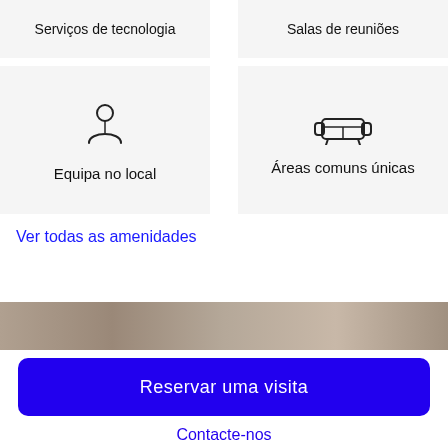Serviços de tecnologia
Salas de reuniões
[Figure (illustration): Icon of a person/team member (circle head above torso outline)]
Equipa no local
[Figure (illustration): Icon of a couch/sofa with armrests]
Áreas comuns únicas
Ver todas as amenidades
[Figure (photo): Partial view of a marble or stone surface photo strip]
Reservar uma visita
Contacte-nos